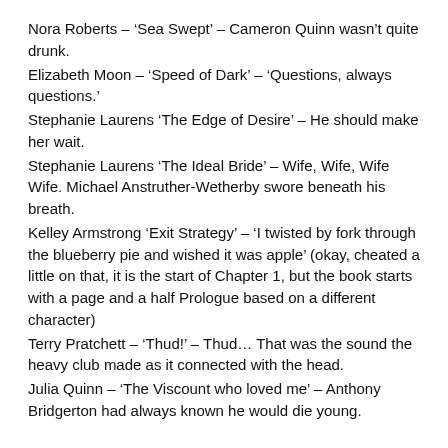Nora Roberts – 'Sea Swept' – Cameron Quinn wasn't quite drunk.
Elizabeth Moon – 'Speed of Dark' – 'Questions, always questions.'
Stephanie Laurens 'The Edge of Desire' – He should make her wait.
Stephanie Laurens 'The Ideal Bride' – Wife, Wife, Wife Wife. Michael Anstruther-Wetherby swore beneath his breath.
Kelley Armstrong 'Exit Strategy' – 'I twisted by fork through the blueberry pie and wished it was apple' (okay, cheated a little on that, it is the start of Chapter 1, but the book starts with a page and a half Prologue based on a different character)
Terry Pratchett – 'Thud!' – Thud… That was the sound the heavy club made as it connected with the head.
Julia Quinn – 'The Viscount who loved me' – Anthony Bridgerton had always known he would die young.